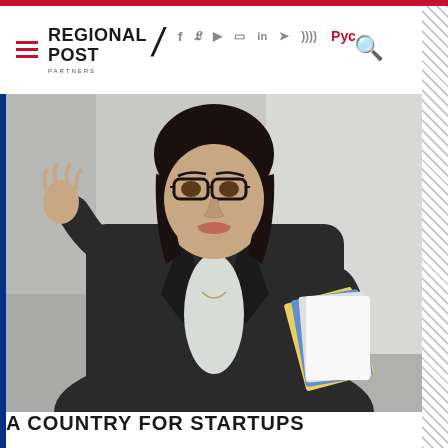REGIONAL POST — navigation header with social icons (f, Twitter, YouTube, Instagram, in, Telegram, RSS) and Рус. language toggle
[Figure (photo): A woman with dark hair and glasses wearing a dark blazer over a light top, gesturing with her left hand raised and holding colorful papers/booklet in her right hand. She appears to be speaking or presenting in front of a light gray background.]
A COUNTRY FOR STARTUPS